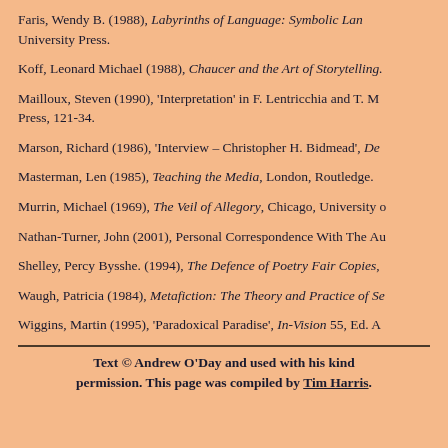Faris, Wendy B. (1988), Labyrinths of Language: Symbolic Lan… University Press.
Koff, Leonard Michael (1988), Chaucer and the Art of Storytelling.
Mailloux, Steven (1990), 'Interpretation' in F. Lentricchia and T. M… Press, 121-34.
Marson, Richard (1986), 'Interview – Christopher H. Bidmead', De…
Masterman, Len (1985), Teaching the Media, London, Routledge.
Murrin, Michael (1969), The Veil of Allegory, Chicago, University o…
Nathan-Turner, John (2001), Personal Correspondence With The Au…
Shelley, Percy Bysshe. (1994), The Defence of Poetry Fair Copies,…
Waugh, Patricia (1984), Metafiction: The Theory and Practice of Se…
Wiggins, Martin (1995), 'Paradoxical Paradise', In-Vision 55, Ed. A…
Text © Andrew O'Day and used with his kind permission. This page was compiled by Tim Harris.